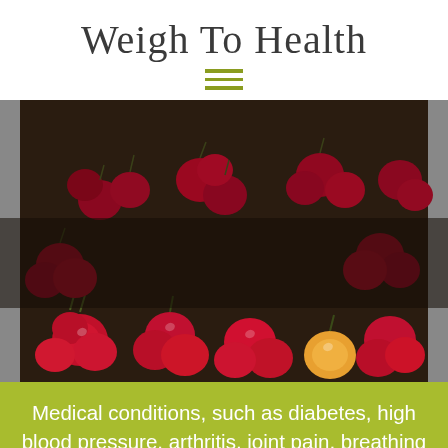Weigh To Health
[Figure (other): Hamburger/navigation menu icon with three horizontal olive-green lines]
[Figure (photo): Overhead photograph of fresh red and one yellow cherry fruit spread on a dark surface, with a semi-transparent dark overlay band across the middle]
Medical conditions, such as diabetes, high blood pressure, arthritis, joint pain, breathing disorders and sleep apnea, are associated with obesity, and can endanger the length and quality of your life. Incorporating healthy eating and regular